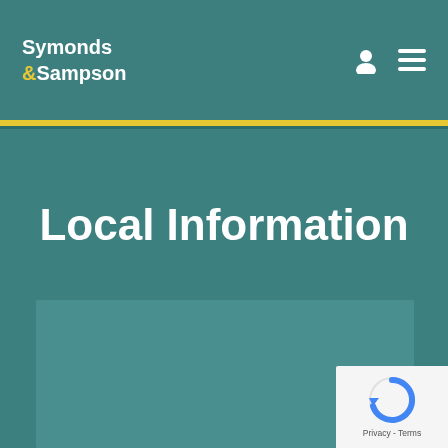Symonds & Sampson
Local Information
[Figure (map): Embedded map area placeholder with teal background]
[Figure (logo): reCAPTCHA badge with Privacy - Terms text]